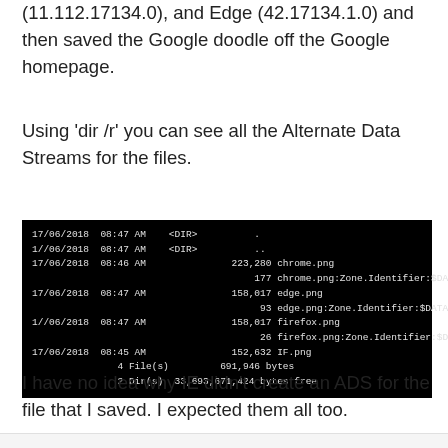(11.112.17134.0), and Edge (42.17134.1.0) and then saved the Google doodle off the Google homepage.
Using 'dir /r' you can see all the Alternate Data Streams for the files.
[Figure (screenshot): Terminal/command prompt screenshot showing directory listing with Alternate Data Streams. Shows files chrome.png, edge.png, firefox.png, IF.png with their Zone.Identifier:$DATA streams. Dated 17/06/2018.]
I have no idea why IE didn't create an ADS for the file that I saved. I expected them all too.